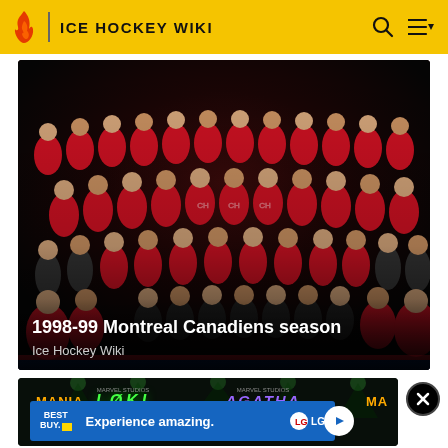ICE HOCKEY WIKI
[Figure (photo): Team photo of the 1998-99 Montreal Canadiens, multiple rows of players in red jerseys with staff in suits]
1998-99 Montreal Canadiens season
Ice Hockey Wiki
[Figure (screenshot): Advertisement banner area showing Marvel shows Loki Season 2 and Agatha All Along, with a Best Buy 'Experience amazing' ad featuring LG branding]